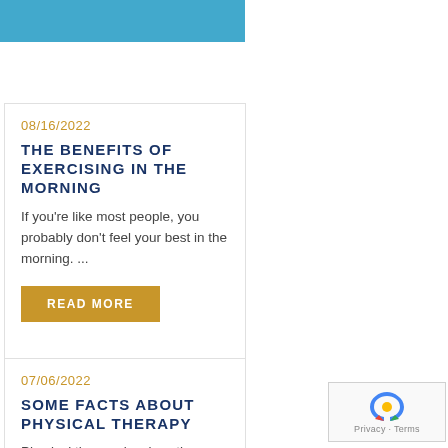[Figure (other): Blue header bar at top of page]
08/16/2022
THE BENEFITS OF EXERCISING IN THE MORNING
If you're like most people, you probably don't feel your best in the morning. ...
READ MORE
07/06/2022
SOME FACTS ABOUT PHYSICAL THERAPY
Physical therapy involves the treatment of disease or